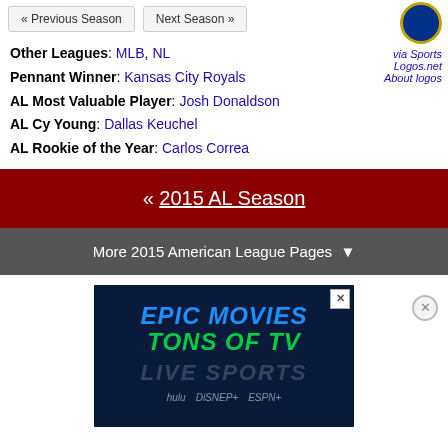« Previous Season   Next Season »
via Sports Logos.net
About logos
Other Leagues: MLB, NL
Pennant Winner: Kansas City Royals
AL Most Valuable Player: Josh Donaldson
AL Cy Young: Dallas Keuchel
AL Rookie of the Year: Carlos Correa
« 2015 AL Season
More 2015 American League Pages ▼
[Figure (infographic): Advertisement banner: dark blue background with 'EPIC MOVIES', 'TONS OF TV', 'LIVE SPORTS' text and Hulu, Disney+, ESPN logos]